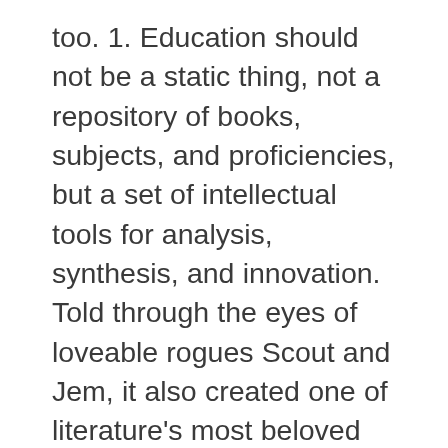too. 1. Education should not be a static thing, not a repository of books, subjects, and proficiencies, but a set of intellectual tools for analysis, synthesis, and innovation. Told through the eyes of loveable rogues Scout and Jem, it also created one of literature's most beloved heroes – Atticus Finch, a man determined to right the racial wrongs of the Deep South. While this ancient book might, at first, appear like a manual that you … Written by: Jason Lankow, Ross Crooks, Joshua Ritchie, and Brett McKay. 23 Contemporary Writers You Should Have Read by Now Dawn Raffel Updated: May. The Story of Success by Malcolm Gladwell: While high IQ is great to have, this book provides the